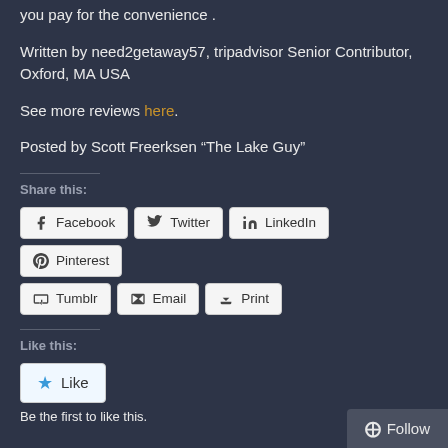you pay for the convenience .
Written by need2getaway57, tripadvisor Senior Contributor, Oxford, MA USA
See more reviews here.
Posted by Scott Freerksen “The Lake Guy”
Share this:
[Figure (other): Social share buttons: Facebook, Twitter, LinkedIn, Pinterest, Tumblr, Email, Print]
Like this:
[Figure (other): Like button with star icon]
Be the first to like this.
Follow